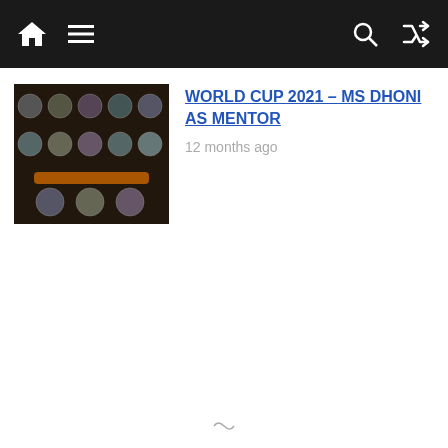Navigation bar with home, menu, search, and shuffle icons
[Figure (photo): Thumbnail image showing cricket team squad with player portraits on dark background]
WORLD CUP 2021 – MS DHONI AS MENTOR
12 months ago